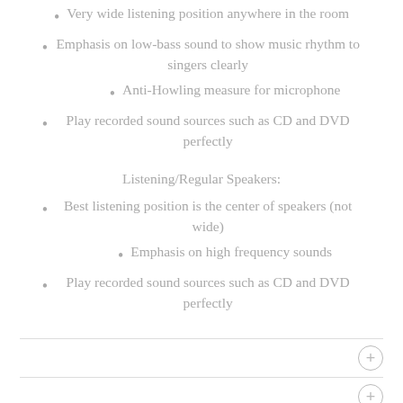Very wide listening position anywhere in the room
Emphasis on low-bass sound to show music rhythm to singers clearly
Anti-Howling measure for microphone
Play recorded sound sources such as CD and DVD perfectly
Listening/Regular Speakers:
Best listening position is the center of speakers (not wide)
Emphasis on high frequency sounds
Play recorded sound sources such as CD and DVD perfectly